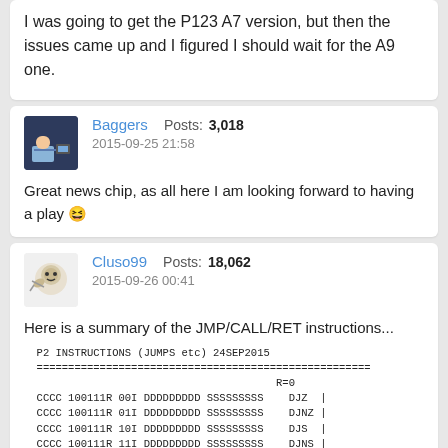I was going to get the P123 A7 version, but then the issues came up and I figured I should wait for the A9 one.
Baggers    Posts: 3,018
2015-09-25 21:58
Great news chip, as all here I am looking forward to having a play 😆
Cluso99    Posts: 18,062
2015-09-26 00:41
Here is a summary of the JMP/CALL/RET instructions...
P2 INSTRUCTIONS (JUMPS etc) 24SEP2015
=====================================================
                                          R=0
CCCC 100111R 00I DDDDDDDDD SSSSSSSSS    DJZ  |
CCCC 100111R 01I DDDDDDDDD SSSSSSSSS    DJNZ |
CCCC 100111R 10I DDDDDDDDD SSSSSSSSS    DJS  |
CCCC 100111R 11I DDDDDDDDD SSSSSSSSS    DJNS |